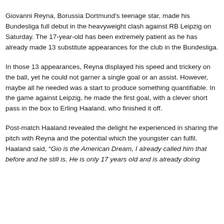Giovanni Reyna, Borussia Dortmund's teenage star, made his Bundesliga full debut in the heavyweight clash against RB Leipzig on Saturday. The 17-year-old has been extremely patient as he has already made 13 substitute appearances for the club in the Bundesliga.
In those 13 appearances, Reyna displayed his speed and trickery on the ball, yet he could not garner a single goal or an assist. However, maybe all he needed was a start to produce something quantifiable. In the game against Leipzig, he made the first goal, with a clever short pass in the box to Erling Haaland, who finished it off.
Post-match Haaland revealed the delight he experienced in sharing the pitch with Reyna and the potential which the youngster can fulfil. Haaland said, “Gio is the American Dream, I already called him that before and he still is. He is only 17 years old and is already doing…